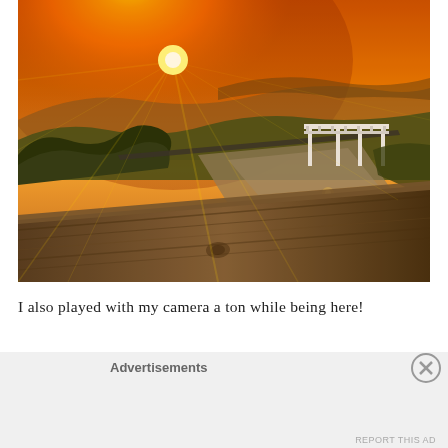[Figure (photo): Aerial/elevated photo of a hillside landscape at sunset. A warm orange sun is setting over rolling green hills. A white pergola structure is visible on a patio/deck in the middle distance. Sunbeams radiate from the sun across the scene. In the foreground, a weathered wooden deck railing/fence runs diagonally. Trees and gardens are visible below the deck.]
I also played with my camera a ton while being here!
Advertisements